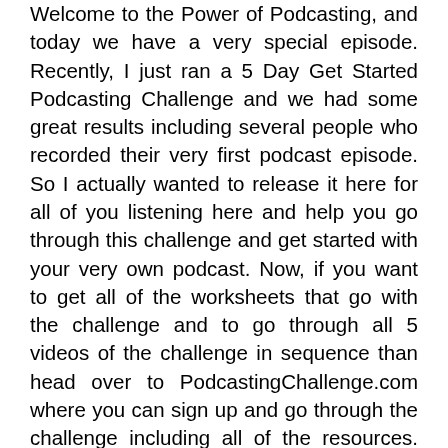Welcome to the Power of Podcasting, and today we have a very special episode. Recently, I just ran a 5 Day Get Started Podcasting Challenge and we had some great results including several people who recorded their very first podcast episode. So I actually wanted to release it here for all of you listening here and help you go through this challenge and get started with your very own podcast. Now, if you want to get all of the worksheets that go with the challenge and to go through all 5 videos of the challenge in sequence than head over to PodcastingChallenge.com where you can sign up and go through the challenge including all of the resources. But in today s episode we are going to actually dive into some of the training from the challenge. Good luck with the challenge and hopefully I ll hear from you soon about your amazing results. Let s dive on in. Hello and welcome to day three of the podcasting challenge. Now, hopefully, you have your solid foundation created for your podcast. You know what equipment you want to get and now it's time to really dive into how you can actually stand out from the crowd because, as you know, more and more people are diving into podcasting. More and more people want to create podcasts, and so it's going to be more and more